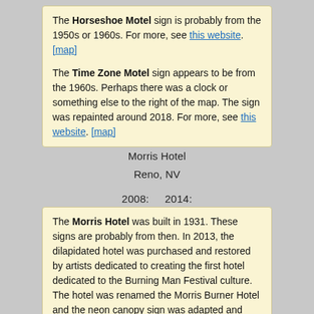The Horseshoe Motel sign is probably from the 1950s or 1960s. For more, see this website. [map]
The Time Zone Motel sign appears to be from the 1960s. Perhaps there was a clock or something else to the right of the map. The sign was repainted around 2018. For more, see this website. [map]
Morris Hotel
Reno, NV
2008:    2014:
The Morris Hotel was built in 1931. These signs are probably from then. In 2013, the dilapidated hotel was purchased and restored by artists dedicated to creating the first hotel dedicated to the Burning Man Festival culture. The hotel was renamed the Morris Burner Hotel and the neon canopy sign was adapted and restored. For more, see these websites: 1, 2, and 3. [map]